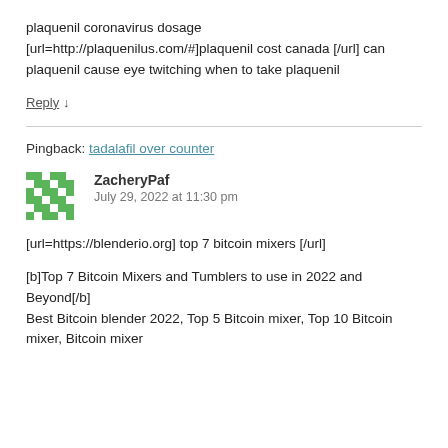plaquenil coronavirus dosage [url=http://plaquenilus.com/#]plaquenil cost canada [/url] can plaquenil cause eye twitching when to take plaquenil
Reply ↓
Pingback: tadalafil over counter
ZacheryPaf
July 29, 2022 at 11:30 pm
[url=https://blenderio.org] top 7 bitcoin mixers [/url]
[b]Top 7 Bitcoin Mixers and Tumblers to use in 2022 and Beyond[/b]
Best Bitcoin blender 2022, Top 5 Bitcoin mixer, Top 10 Bitcoin mixer, Bitcoin mixer